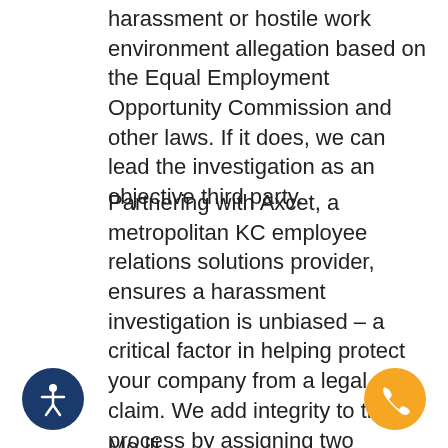harassment or hostile work environment allegation based on the Equal Employment Opportunity Commission and other laws. If it does, we can lead the investigation as an objective third party.
Partnering with Axcet, a metropolitan KC employee relations solutions provider, ensures a harassment investigation is unbiased – a critical factor in helping protect your company from a legal claim. We add integrity to the process by assigning two employee relations specialists to each case, so they can compare notes and confirm independent agreement before recommending steps your company should take to address the grievance.
Mo lli...